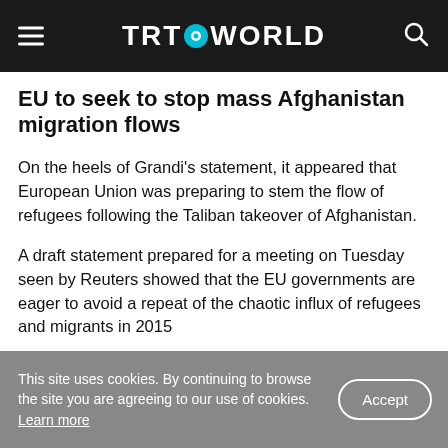TRT WORLD
EU to seek to stop mass Afghanistan migration flows
On the heels of Grandi's statement, it appeared that European Union was preparing to stem the flow of refugees following the Taliban takeover of Afghanistan.
A draft statement prepared for a meeting on Tuesday seen by Reuters showed that the EU governments are eager to avoid a repeat of the chaotic influx of refugees and migrants in 2015
This site uses cookies. By continuing to browse the site you are agreeing to our use of cookies. Learn more